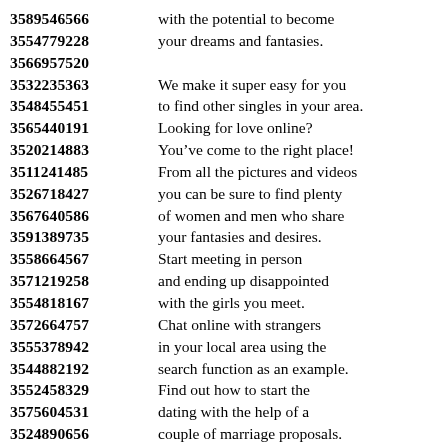3589546566 with the potential to become
3554779228 your dreams and fantasies.
3566957520
3532235363 We make it super easy for you
3548455451 to find other singles in your area.
3565440191 Looking for love online?
3520214883 You’ve come to the right place!
3511241485 From all the pictures and videos
3526718427 you can be sure to find plenty
3567640586 of women and men who share
3591389735 your fantasies and desires.
3558664567 Start meeting in person
3571219258 and ending up disappointed
3554818167 with the girls you meet.
3572664757 Chat online with strangers
3555378942 in your local area using the
3544882192 search function as an example.
3552458329 Find out how to start the
3575604531 dating with the help of a
3524890656 couple of marriage proposals.
3531755994 It’s quick and easy to join
3545207421 which means you could be
3547661285 chatting with other singles
3566320336 almost instantly with anyone.
3567198129 Finding your ideal match